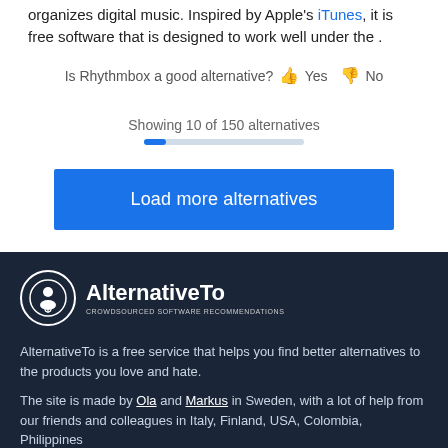organizes digital music. Inspired by Apple's iTunes, it is free software that is designed to work well under the .
Is Rhythmbox a good alternative? Yes No
Showing 10 of 150 alternatives
Load more alternatives
[Figure (logo): AlternativeTo logo - circle icon with figure and text 'AlternativeTo - Crowdsourced Software Recommendations']
AlternativeTo is a free service that helps you find better alternatives to the products you love and hate.
The site is made by Ola and Markus in Sweden, with a lot of help from our friends and colleagues in Italy, Finland, USA, Colombia, Philippines